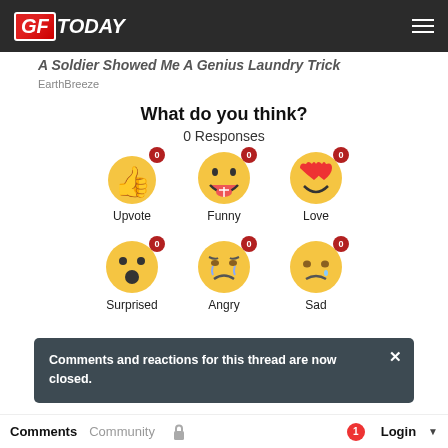GFToday
A Soldier Showed Me A Genius Laundry Trick
EarthBreeze
What do you think?
0 Responses
[Figure (infographic): Six emoji reaction buttons each with a red badge showing 0 count: Upvote (thumbs up), Funny (laughing), Love (heart eyes), Surprised (wow face), Angry (crying), Sad (sad with tear)]
Comments and reactions for this thread are now closed.
Comments   Community   Login